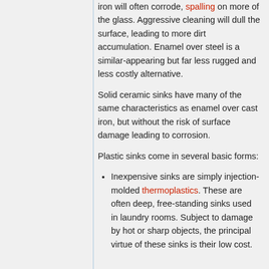iron will often corrode, spalling on more of the glass. Aggressive cleaning will dull the surface, leading to more dirt accumulation. Enamel over steel is a similar-appearing but far less rugged and less costly alternative.
Solid ceramic sinks have many of the same characteristics as enamel over cast iron, but without the risk of surface damage leading to corrosion.
Plastic sinks come in several basic forms:
Inexpensive sinks are simply injection-molded thermoplastics. These are often deep, free-standing sinks used in laundry rooms. Subject to damage by hot or sharp objects, the principal virtue of these sinks is their low cost.